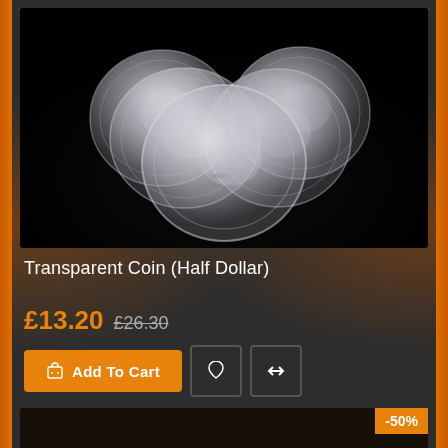[Figure (photo): Five transparent/clear half-dollar coins arranged in a fan on a black background]
Transparent Coin (Half Dollar)
£13.20  £26.30
Add To Cart
[Figure (photo): Bottom product preview card with -50% discount badge]